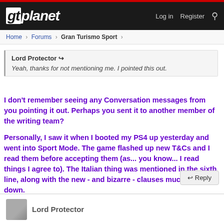gtplanet — Log in  Register
Home > Forums > Gran Turismo Sport >
Lord Protector
Yeah, thanks for not mentioning me. I pointed this out.
I don't remember seeing any Conversation messages from you pointing it out. Perhaps you sent it to another member of the writing team?

Personally, I saw it when I booted my PS4 up yesterday and went into Sport Mode. The game flashed up new T&Cs and I read them before accepting them (as... you know... I read things I agree to). The Italian thing was mentioned in the sixth line, along with the new - and bizarre - clauses much further down.
Reply
Lord Protector